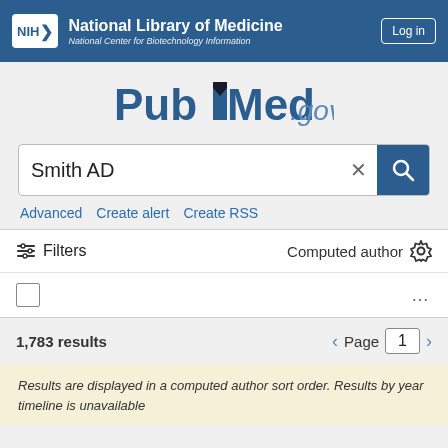NIH National Library of Medicine National Center for Biotechnology Information | Log in
[Figure (logo): PubMed.gov logo with bookmark icon]
Smith AD
Advanced   Create alert   Create RSS
Filters   Computed author
1,783 results   Page 1
Results are displayed in a computed author sort order. Results by year timeline is unavailable